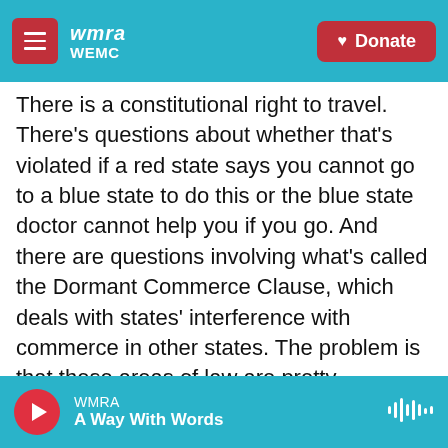WMRA WEMC | Donate
There is a constitutional right to travel. There's questions about whether that's violated if a red state says you cannot go to a blue state to do this or the blue state doctor cannot help you if you go. And there are questions involving what's called the Dormant Commerce Clause, which deals with states' interference with commerce in other states. The problem is that these areas of law are pretty underdeveloped, so we don't have a lot of guidance from precedent or from the Supreme Court about what either of them really will look like in this context. So what you're really going to be seeing is conservative and progressive states kind of
WMRA | A Way With Words